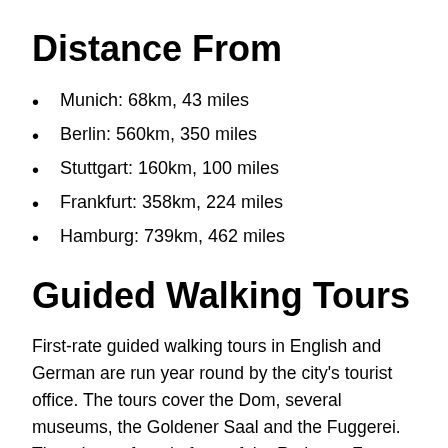Distance From
Munich: 68km, 43 miles
Berlin: 560km, 350 miles
Stuttgart: 160km, 100 miles
Frankfurt: 358km, 224 miles
Hamburg: 739km, 462 miles
Guided Walking Tours
First-rate guided walking tours in English and German are run year round by the city's tourist office. The tours cover the Dom, several museums, the Goldener Saal and the Fuggerei. They depart from in front of the Rathaus. From May to November the tours run daily at 2pm. At other times of the year they only run on Saturdays at 2